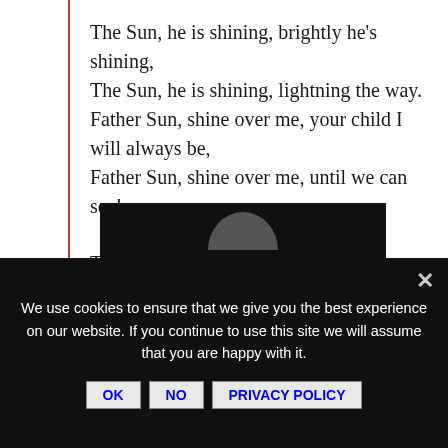The Sun, he is shining, brightly he's shining,
The Sun, he is shining, lightning the way.
Father Sun, shine over me, your child I will always be,
Father Sun, shine over me, until we can see!
The Fire is burning, destroying and healing,
The Fire is burning, for us to be pure.
Violet Flame burn over me, a child I will always be,
Violet Flame burn over me, until we are pure.
[Figure (photo): Dark image strip partially visible at bottom of content area]
We use cookies to ensure that we give you the best experience on our website. If you continue to use this site we will assume that you are happy with it.